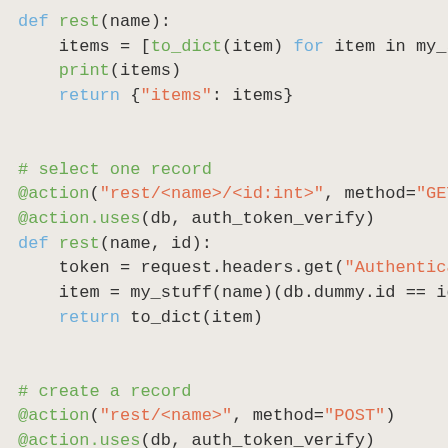def rest(name):
    items = [to_dict(item) for item in my_s
    print(items)
    return {"items": items}

# select one record
@action("rest/<name>/<id:int>", method="GET"
@action.uses(db, auth_token_verify)
def rest(name, id):
    token = request.headers.get("Authentica
    item = my_stuff(name)(db.dummy.id == id
    return to_dict(item)

# create a record
@action("rest/<name>", method="POST")
@action.uses(db, auth_token_verify)
def rest(name):